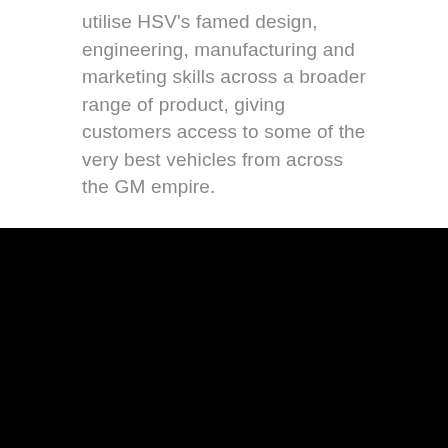utilise HSV's famed design, engineering, manufacturing and marketing skills across a broader range of product, giving customers access to some of the very best vehicles from across the GM empire.
[Figure (photo): Large black rectangular area occupying the bottom half of the page.]